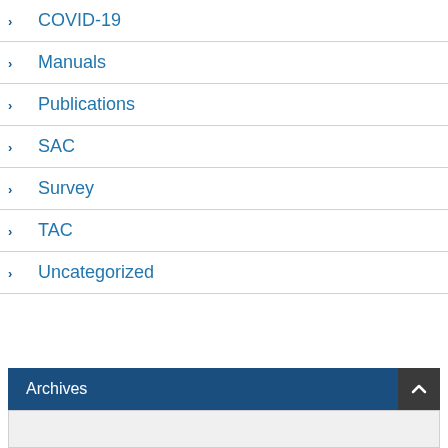COVID-19
Manuals
Publications
SAC
Survey
TAC
Uncategorized
Archives